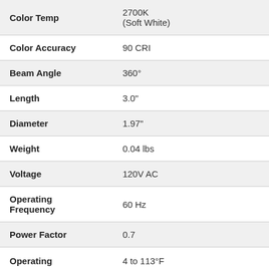| Property | Value |
| --- | --- |
| Color Temp | 2700K
(Soft White) |
| Color Accuracy | 90 CRI |
| Beam Angle | 360° |
| Length | 3.0" |
| Diameter | 1.97" |
| Weight | 0.04 lbs |
| Voltage | 120V AC |
| Operating Frequency | 60 Hz |
| Power Factor | 0.7 |
| Operating | 4 to 113°F |